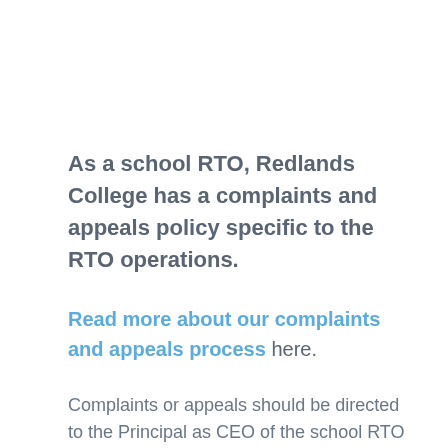As a school RTO, Redlands College has a complaints and appeals policy specific to the RTO operations.
Read more about our complaints and appeals process here.
Complaints or appeals should be directed to the Principal as CEO of the school RTO at: Email the Principal